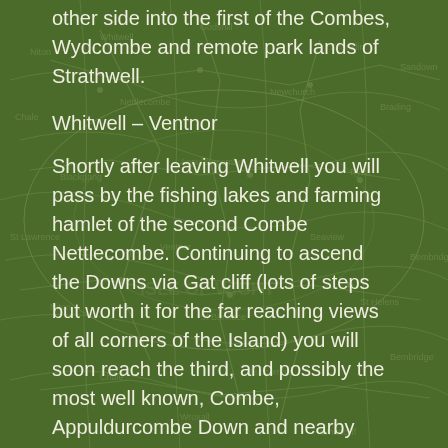other side into the first of the Combes, Wydcombe and remote park lands of Strathwell.
Whitwell – Ventnor
Shortly after leaving Whitwell you will pass by the fishing lakes and farming hamlet of the second Combe Nettlecombe. Continuing to ascend the Downs via Gat cliff (lots of steps but worth it for the far reaching views of all corners of the Island) you will soon reach the third, and possibly the most well known, Combe, Appuldurcombe Down and nearby House. Today just the shell remains of a lovely, 18th century house built on the estate of Appuldurcombe. Surrounded by a vast expanse of rolling downs, this impressive estate was the family seat of the Worsley family for some 300 years. Finally crossing the impressive and final Combe of Luscombe